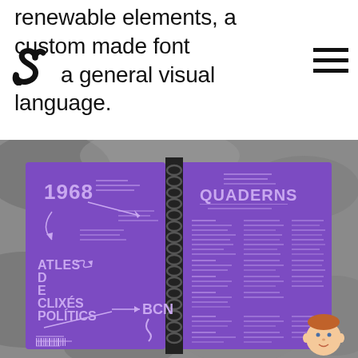renewable elements, a custom made font and a general visual language.
[Figure (illustration): Black stylized letter S logo mark]
[Figure (illustration): Hamburger menu icon with three horizontal bars]
[Figure (photo): Open spiral-bound notebook with purple pages showing '1968', 'ATLES DE CLIXÉS POLÍTICS', 'BCN', 'QUADERNS' text on a grey rocky background. A small cartoon face avatar is in the bottom right corner.]